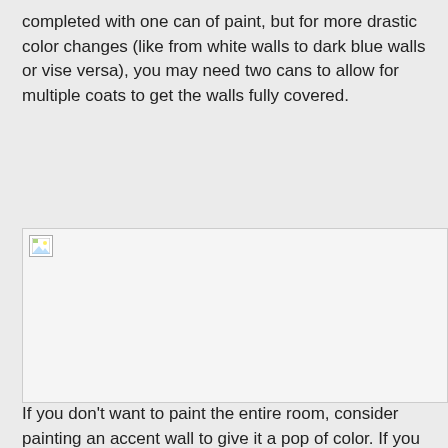completed with one can of paint, but for more drastic color changes (like from white walls to dark blue walls or vise versa), you may need two cans to allow for multiple coats to get the walls fully covered.
[Figure (photo): Broken/unloaded image placeholder]
If you don't want to paint the entire room, consider painting an accent wall to give it a pop of color. If you have more time than